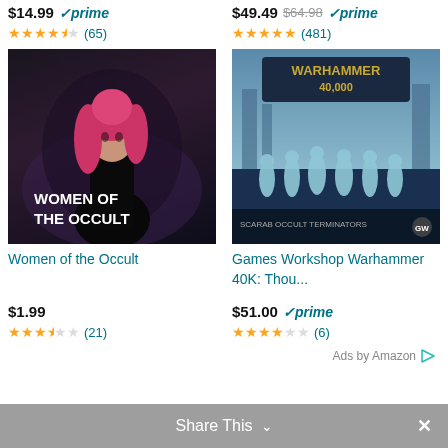$14.99 prime (65 reviews, 4.5 stars)
$49.49 $64.98 prime (481 reviews, 5 stars)
[Figure (photo): Book cover: Women of the Occult - woman with pink hair in dark gothic setting]
[Figure (photo): Product box: Games Workshop Warhammer 40K: Thousand Sons Scarab Occult Terminators]
Women of the Occult
Games Workshop Warhammer 40K: Thou...
$1.99
$51.00 prime
(21) 3 stars
(6) 4 stars
Ads by Amazon
Share This  ✕